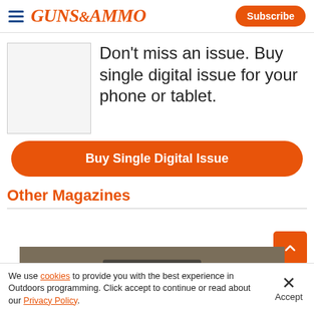Guns & Ammo | Subscribe
[Figure (other): Magazine cover placeholder image (blank white box)]
Don't miss an issue. Buy single digital issue for your phone or tablet.
Buy Single Digital Issue
Other Magazines
[Figure (photo): Advertisement banner with outdoor/hunting imagery and text 'Advertisement', overlaid with an X close button and partial 'TIPTON' brand logo visible]
We use cookies to provide you with the best experience in Outdoors programming. Click accept to continue or read about our Privacy Policy.